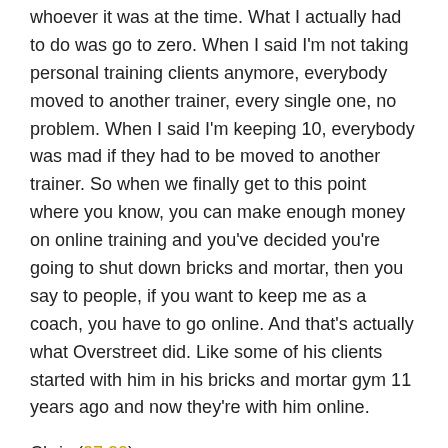whoever it was at the time. What I actually had to do was go to zero. When I said I'm not taking personal training clients anymore, everybody moved to another trainer, every single one, no problem. When I said I'm keeping 10, everybody was mad if they had to be moved to another trainer. So when we finally get to this point where you know, you can make enough money on online training and you've decided you're going to shut down bricks and mortar, then you say to people, if you want to keep me as a coach, you have to go online. And that's actually what Overstreet did. Like some of his clients started with him in his bricks and mortar gym 11 years ago and now they're with him online.
Chris (27:20):
So, some clients will promise to switch to online, but then they'll hate it because they have the other option